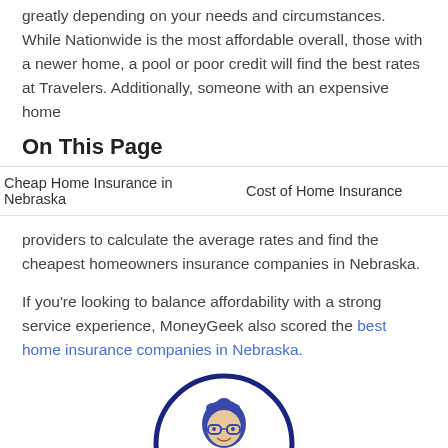greatly depending on your needs and circumstances. While Nationwide is the most affordable overall, those with a newer home, a pool or poor credit will find the best rates at Travelers. Additionally, someone with an expensive home
On This Page
Cheap Home Insurance in Nebraska   Cost of Home Insurance
providers to calculate the average rates and find the cheapest homeowners insurance companies in Nebraska.
If you're looking to balance affordability with a strong service experience, MoneyGeek also scored the best home insurance companies in Nebraska.
[Figure (illustration): Badge/seal illustration with a cartoon person wearing glasses at top, and a blue ribbon banner at bottom reading CHEAP HOME INSURANCE]